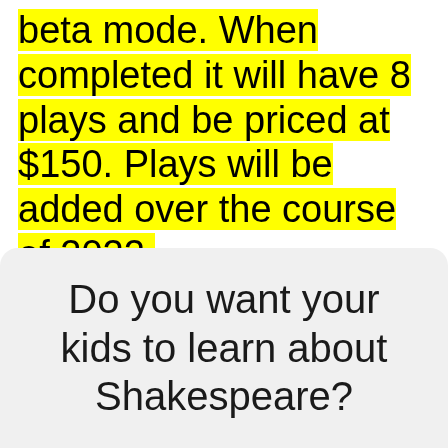beta mode. When completed it will have 8 plays and be priced at $150. Plays will be added over the course of 2022.
Do you want your kids to learn about Shakespeare?